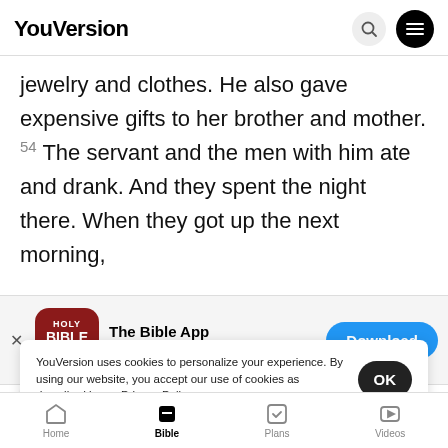YouVersion
jewelry and clothes. He also gave expensive gifts to her brother and mother. 54 The servant and the men with him ate and drank. And they spent the night there. When they got up the next morning,
[Figure (screenshot): The Bible App download banner with Holy Bible icon, 5 stars, 7.9M ratings, and Download button]
Rebekah's mother and her brother said
Rebeka
she may do.
YouVersion uses cookies to personalize your experience. By using our website, you accept our use of cookies as described in our Privacy Policy.
Home  Bible  Plans  Videos